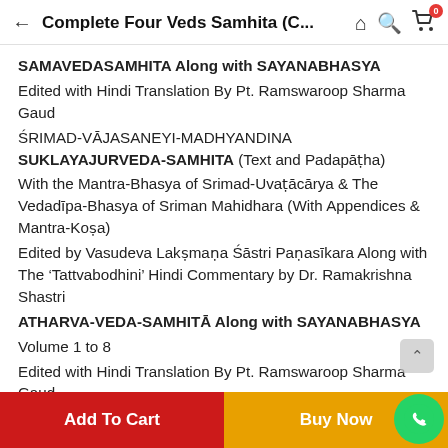Complete Four Veds Samhita (C...
SAMAVEDASAMHITA Along with SAYANABHASYA
Edited with Hindi Translation By Pt. Ramswaroop Sharma Gaud
ŚRIMAD-VĀJASANEYI-MADHYANDINA SUKLAYAJURVEDA-SAMHITA (Text and Padapāṭha)
With the Mantra-Bhasya of Srimad-Uvaṭācārya & The Vedadīpa-Bhasya of Sriman Mahidhara (With Appendices & Mantra-Koṣa)
Edited by Vasudeva Lakṣmaṇa Śāstri Paṇasīkara Along with The 'Tattvabodhini' Hindi Commentary by Dr. Ramakrishna Shastri
ATHARVA-VEDA-SAMHITĀ Along with SAYANABHASYA
Volume 1 to 8
Edited with Hindi Translation By Pt. Ramswaroop Sharma Gaud
सम्पूर्ण ऋग्वेद संहिता (5 भाग में), अथर्ववेद संहिता ( 8 भाग में)...